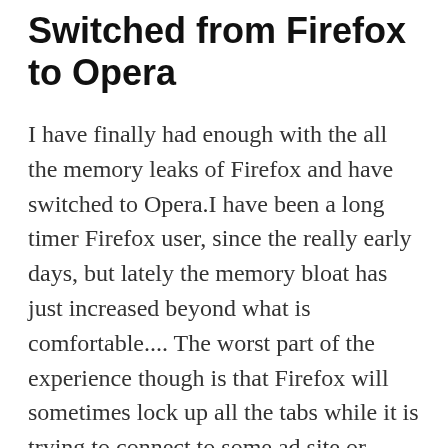Switched from Firefox to Opera
I have finally had enough with the all the memory leaks of Firefox and have switched to Opera.I have been a long timer Firefox user, since the really early days, but lately the memory bloat has just increased beyond what is comfortable.... The worst part of the experience though is that Firefox will sometimes lock up all the tabs while it is trying to connect to some ad site or doing garbage collection.I switched to Opera a week ago, and after a small transition period I am no really happy with it, It is always responsive, does